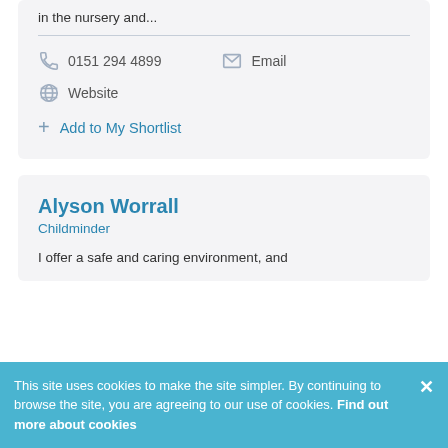in the nursery and...
0151 294 4899  Email  Website
Add to My Shortlist
Alyson Worrall
Childminder
I offer a safe and caring environment, and
This site uses cookies to make the site simpler. By continuing to browse the site, you are agreeing to our use of cookies. Find out more about cookies